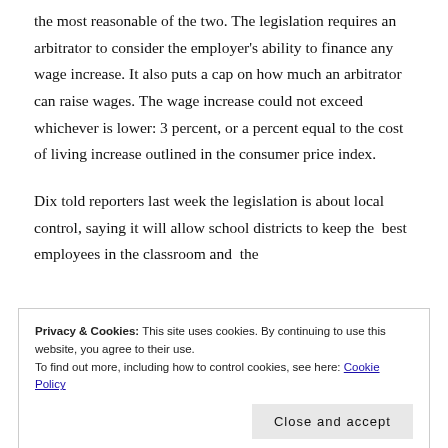the most reasonable of the two. The legislation requires an arbitrator to consider the employer's ability to finance any wage increase. It also puts a cap on how much an arbitrator can raise wages. The wage increase could not exceed whichever is lower: 3 percent, or a percent equal to the cost of living increase outlined in the consumer price index.
Dix told reporters last week the legislation is about local control, saying it will allow school districts to keep the best employees in the classroom and the
Privacy & Cookies: This site uses cookies. By continuing to use this website, you agree to their use.
To find out more, including how to control cookies, see here: Cookie Policy
Branstad has also praised the legislation, saying, "The